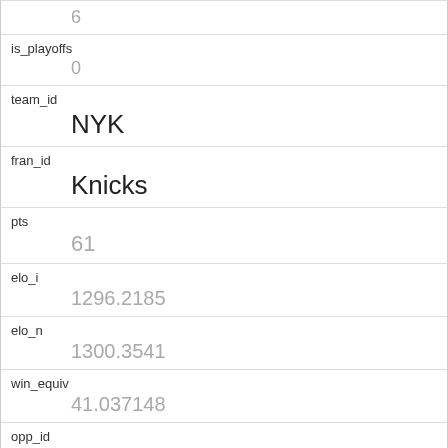| field | value |
| --- | --- |
| (index) | 6 |
| is_playoffs | 0 |
| team_id | NYK |
| fran_id | Knicks |
| pts | 61 |
| elo_i | 1296.2185 |
| elo_n | 1300.3541 |
| win_equiv | 41.037148 |
| opp_id | DTF |
| opp_fran | Falcons |
| opp_pts | 57 |